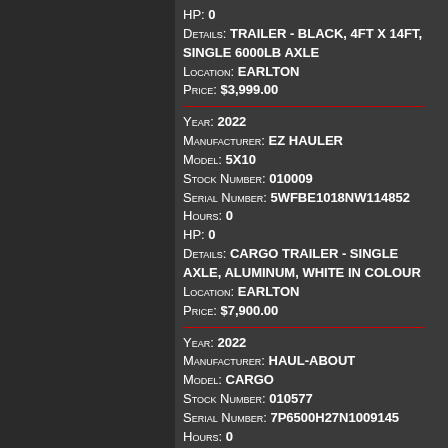HP: 0 Details: TRAILER - BLACK, 4FT X 14FT, SINGLE 6000LB AXLE Location: EARLTON Price: $3,999.00
Year: 2022 Manufacturer: EZ HAULER Model: 5X10 Stock Number: 010009 Serial Number: 5WFBE1018NW114852 Hours: 0 HP: 0 Details: CARGO TRAILER - SINGLE AXLE, ALUMINUM, WHITE IN COLOUR Location: EARLTON Price: $7,900.00
Year: 2022 Manufacturer: HAUL-ABOUT Model: CARGO Stock Number: 010577 Serial Number: 7P6500H27N1009145 Hours: 0